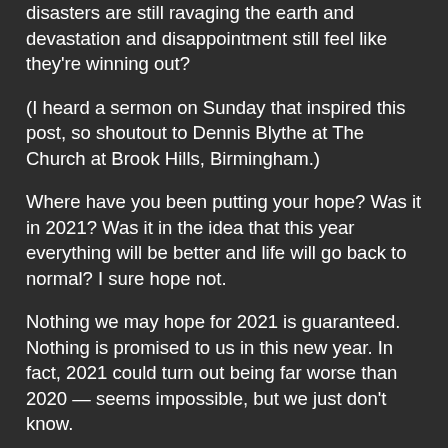disasters are still ravaging the earth and devastation and disappointment still feel like they're winning out?
(I heard a sermon on Sunday that inspired this post, so shoutout to Dennis Blythe at The Church at Brook Hills, Birmingham.)
Where have you been putting your hope? Was it in 2021? Was it in the idea that this year everything will be better and life will go back to normal? I sure hope not.
Nothing we may hope for 2021 is guaranteed. Nothing is promised to us in this new year. In fact, 2021 could turn out being far worse than 2020 — seems impossible, but we just don't know.